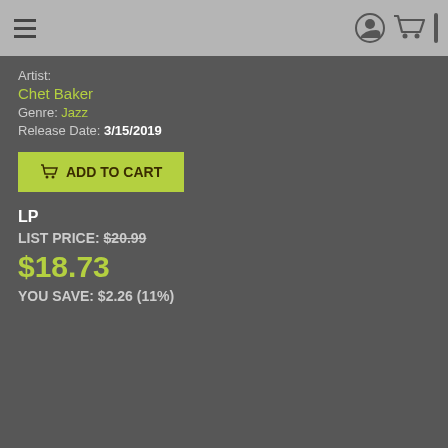Navigation bar with hamburger menu, user icon, and cart icon
Artist: Chet Baker
Genre: Jazz
Release Date: 3/15/2019
ADD TO CART
LP
LIST PRICE: $20.99
$18.73
YOU SAVE: $2.26 (11%)
This website uses cookies
We use cookies to personalise content and ads, to provide social media features and to analyse our traffic. We also share information about your use of our site with our social media, advertising and analytics partners who may combine it with other information that you've provided to them or that they've collected from your use of their services.
OK
Show details